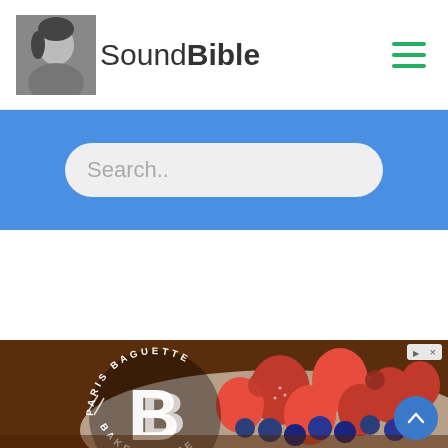SoundBible
Search..
[Figure (photo): Paris Baguette Bakery Cafe advertisement showing a berry tart/cake with strawberries, blueberries, and raspberries on a wooden surface, with the Paris Baguette logo overlaid on the left side.]